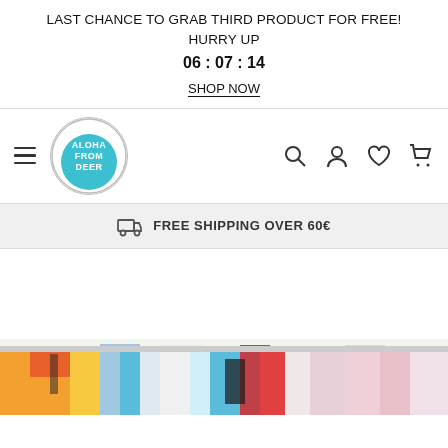LAST CHANCE TO GRAB THIRD PRODUCT FOR FREE! HURRY UP 06 : 07 : 14 SHOP NOW
[Figure (logo): Aloha From Deer brand logo — circular badge with teal/blue background and stylized retro text]
FREE SHIPPING OVER 60€
[Figure (photo): Colorful abstract painted fabric product (swimwear/shorts) with rainbow brushstroke pattern at bottom of page]